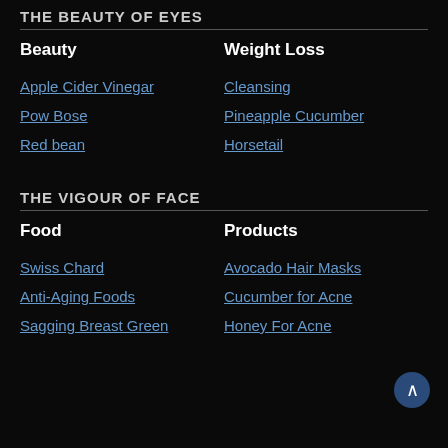THE BEAUTY OF EYES
Beauty
Weight Loss
Apple Cider Vinegar
Cleansing
Pow Bose
Pineapple Cucumber
Red bean
Horsetail
THE VIGOUR OF FACE
Food
Products
Swiss Chard
Avocado Hair Masks
Anti-Aging Foods
Cucumber for Acne
Sagging Breast Green
Honey For Acne